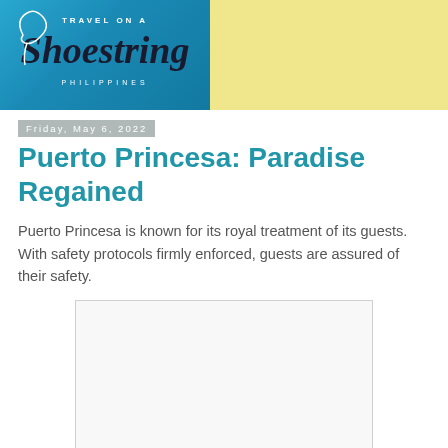[Figure (logo): Travel on a Shoestring Philippines logo on blue gradient background with yellow section to the right]
Friday, May 6, 2022
Puerto Princesa: Paradise Regained
Puerto Princesa is known for its royal treatment of its guests. With safety protocols firmly enforced, guests are assured of their safety.
[Figure (photo): Empty image placeholder with light gray border]